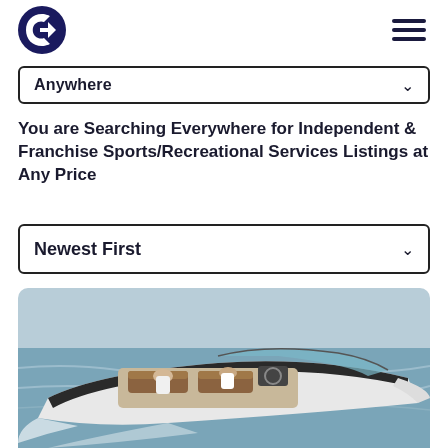Logo and navigation header with hamburger menu
Anywhere
You are Searching Everywhere for Independent & Franchise Sports/Recreational Services Listings at Any Price
Newest First
[Figure (photo): A white luxury motorboat/speedboat on open water, viewed from above and behind, with two people relaxing in the cockpit. The boat has brown leather seating and a sporty design.]